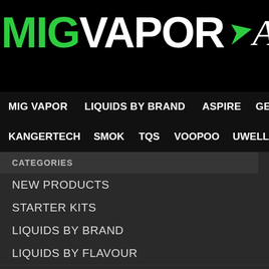[Figure (logo): MIG VAPOR Australia logo — MIGVAPOR in large text with green leaf icon and italic 'Austr' in white on black background]
MIG VAPOR  LIQUIDS BY BRAND  ASPIRE  GEEK V
KANGERTECH  SMOK  TQS  VOOPOO  UWELL
Home » TA
NEW PRODUCTS
STARTER KITS
LIQUIDS BY BRAND
LIQUIDS BY FLAVOUR
HERBAL STICKS